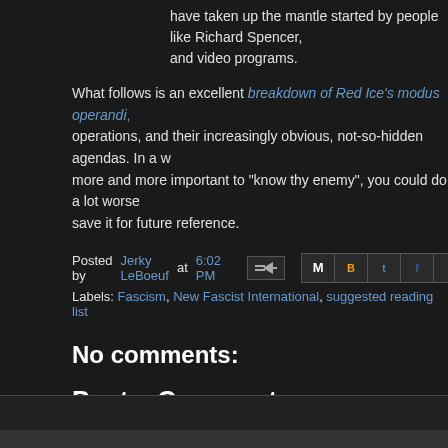have taken up the mantle started by people like Richard Spencer, and video programs.
What follows is an excellent breakdown of Red Ice's modus operandi, operations, and their increasingly obvious, not-so-hidden agendas. In a w more and more important to "know thy enemy", you could do a lot worse save it for future reference.
Posted by Jerky LeBoeuf at 6:02 PM
Labels: Fascism, New Fascist International, suggested reading list
No comments:
Post a Comment
[Figure (other): Comment input box with avatar and Enter Comment placeholder text]